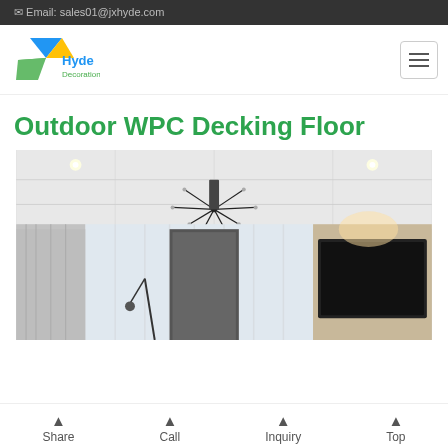✉ Email: sales01@jxhyde.com
[Figure (logo): Hyde Decoration company logo with blue, green and yellow triangular shapes]
Outdoor WPC Decking Floor
[Figure (photo): Interior room photo showing a modern living room with a large geometric chandelier on the ceiling, white panel ceiling with recessed lights, sheer white curtains, and a TV wall panel on the right with warm lighting]
Share  Call  Inquiry  Top